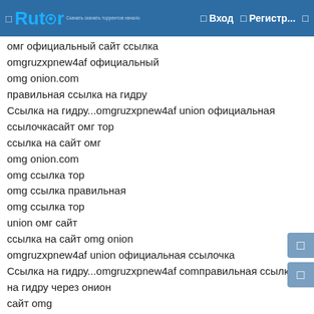Rutor — Вход — Регистр...
омг официальный сайт ссылка
omgruzxpnew4af официальный
omg onion.com
правильная ссылка на гидру
Ссылка на гидру...omgruzxpnew4af union официальная
ссылочкасайт омг тор
ссылка на сайт омг
omg onion.com
omg ссылка тор
omg ссылка правильная
omg ссылка тор
union омг сайт
ссылка на сайт omg onion
omgruzxpnew4af union официальная ссылочка
Ссылка на гидру...omgruzxpnew4af сomправильная ссылка на гидру через онион
сайт omg
omg union официальный
omg union зеркала